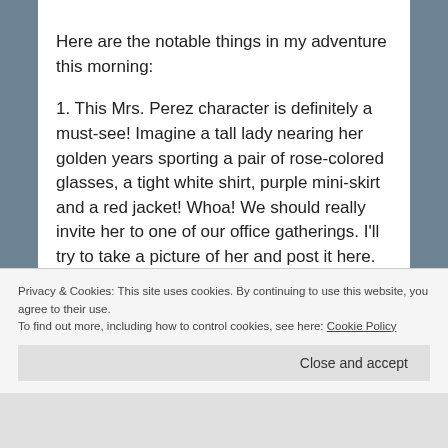Here are the notable things in my adventure this morning:
1. This Mrs. Perez character is definitely a must-see! Imagine a tall lady nearing her golden years sporting a pair of rose-colored glasses, a tight white shirt, purple mini-skirt and a red jacket! Whoa! We should really invite her to one of our office gatherings. I’ll try to take a picture of her and post it here.
Privacy & Cookies: This site uses cookies. By continuing to use this website, you agree to their use.
To find out more, including how to control cookies, see here: Cookie Policy
Close and accept